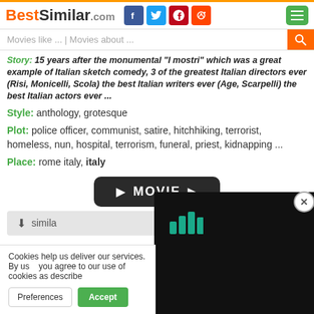BestSimilar.com
Movies like ... | Movies about ...
Story: 15 years after the monumental "I mostri" which was a great example of Italian sketch comedy, 3 of the greatest Italian directors ever (Risi, Monicelli, Scola) the best Italian writers ever (Age, Scarpelli) the best Italian actors ever ...
Style: anthology, grotesque
Plot: police officer, communist, satire, hitchhiking, terrorist, homeless, nun, hospital, terrorism, funeral, priest, kidnapping ...
Place: rome italy, italy
[Figure (screenshot): Dark movie play button with play arrows and text MOVIE]
similar
Cookies help us deliver our services. By us... you agree to our use of cookies as describe...
[Figure (screenshot): Dark overlay panel with teal bar-chart icon]